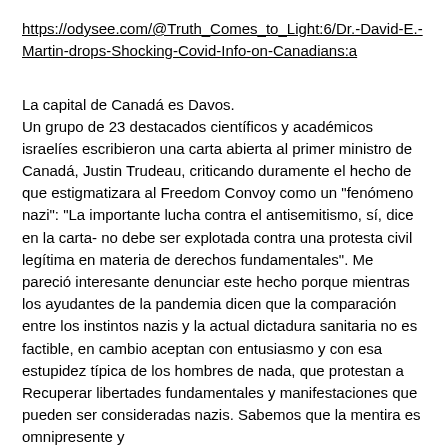https://odysee.com/@Truth_Comes_to_Light:6/Dr.-David-E.-Martin-drops-Shocking-Covid-Info-on-Canadians:a
La capital de Canadá es Davos. Un grupo de 23 destacados científicos y académicos israelíes escribieron una carta abierta al primer ministro de Canadá, Justin Trudeau, criticando duramente el hecho de que estigmatizara al Freedom Convoy como un "fenómeno nazi": "La importante lucha contra el antisemitismo, sí, dice en la carta- no debe ser explotada contra una protesta civil legítima en materia de derechos fundamentales". Me pareció interesante denunciar este hecho porque mientras los ayudantes de la pandemia dicen que la comparación entre los instintos nazis y la actual dictadura sanitaria no es factible, en cambio aceptan con entusiasmo y con esa estupidez típica de los hombres de nada, que protestan a Recuperar libertades fundamentales y manifestaciones que pueden ser consideradas nazis. Sabemos que la mentira es omnipresente y